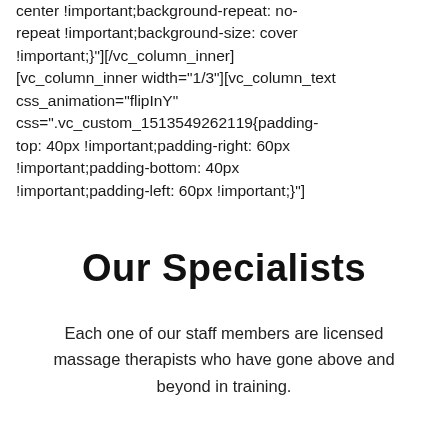center !important;background-repeat: no-repeat !important;background-size: cover !important;}"][/vc_column_inner] [vc_column_inner width="1/3"][vc_column_text css_animation="flipInY" css=".vc_custom_1513549262119{padding-top: 40px !important;padding-right: 60px !important;padding-bottom: 40px !important;padding-left: 60px !important;}"]
Our Specialists
Each one of our staff members are licensed massage therapists who have gone above and beyond in training.
[/vc_column_text][vc_btn title="BOOK NOW" style="flat" color="success" size="sm" align="center" link="url:https%3A%25%25booking.delusamassage.com%25...